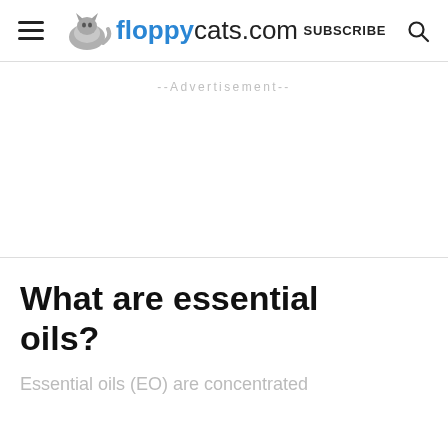floppycats.com | SUBSCRIBE
--Advertisement--
What are essential oils?
Essential oils (EO) are concentrated